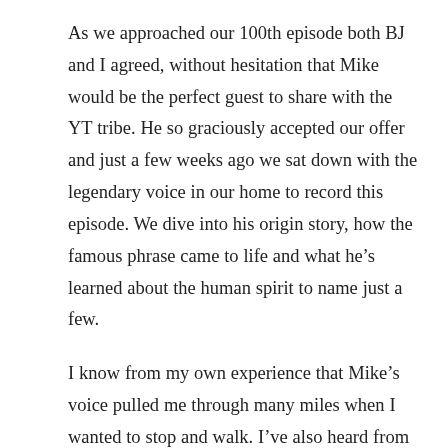As we approached our 100th episode both BJ and I agreed, without hesitation that Mike would be the perfect guest to share with the YT tribe. He so graciously accepted our offer and just a few weeks ago we sat down with the legendary voice in our home to record this episode. We dive into his origin story, how the famous phrase came to life and what he's learned about the human spirit to name just a few.
I know from my own experience that Mike's voice pulled me through many miles when I wanted to stop and walk. I've also heard from many athletes what it means to them to hear Mike say their name and how he serves as daily motivation to take the next step towards their finish line. As you will so clearly hear, Mike lives from a deep place of gratitude and reverence. I would say that we feel the